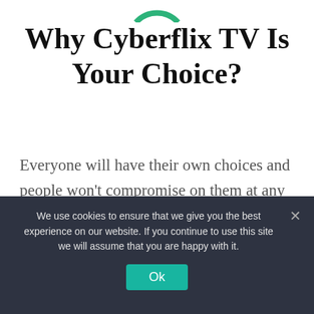[Figure (logo): Partial Cyberflix TV green logo visible at top of page]
Why Cyberflix TV Is Your Choice?
Everyone will have their own choices and people won’t compromise on them at any cost. I guess you are one of them who wouldn’t want to compromise on the quality of content and UI.
1. Customize App Language
We use cookies to ensure that we give you the best experience on our website. If you continue to use this site we will assume that you are happy with it.